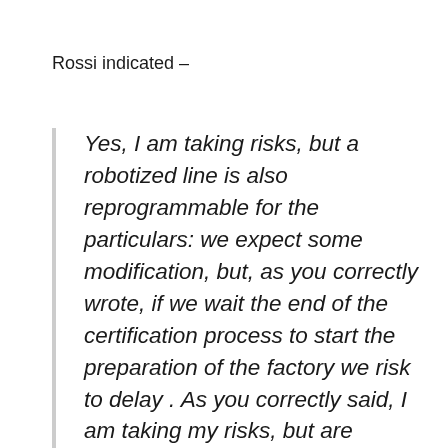Rossi indicated –
Yes, I am taking risks, but a robotized line is also reprogrammable for the particulars: we expect some modification, but, as you correctly wrote, if we wait the end of the certification process to start the preparation of the factory we risk to delay . As you correctly said, I am taking my risks, but are calculated risks: a